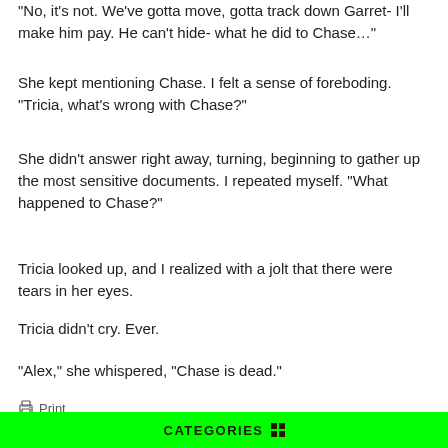“No, it’s not. We’ve gotta move, gotta track down Garret- I’ll make him pay. He can’t hide- what he did to Chase…”
She kept mentioning Chase. I felt a sense of foreboding. “Tricia, what’s wrong with Chase?”
She didn’t answer right away, turning, beginning to gather up the most sensitive documents. I repeated myself. “What happened to Chase?”
Tricia looked up, and I realized with a jolt that there were tears in her eyes.
Tricia didn’t cry. Ever.
“Alex,” she whispered, “Chase is dead.”
Print
[Figure (photo): Partial view of a dark and light grayscale image, appears to show some mechanical or outdoor scene]
CATEGORIES